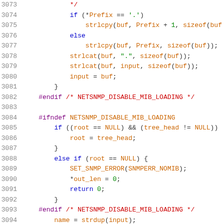[Figure (screenshot): Source code listing showing lines 3073-3094 of a C file, featuring preprocessor directives for NETSNMP_DISABLE_MIB_LOADING and logic for handling root/tree_head pointers, with syntax highlighting in blue, orange, red, and green on white background.]